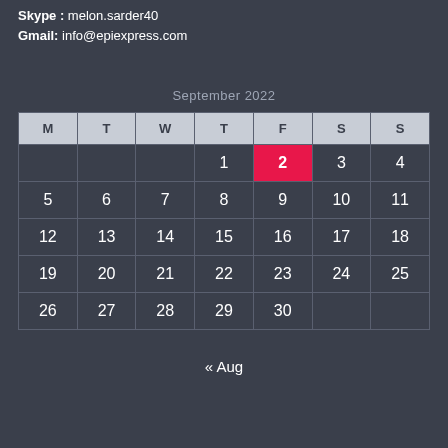Skype : melon.sarder40
Gmail: info@epiexpress.com
September 2022
| M | T | W | T | F | S | S |
| --- | --- | --- | --- | --- | --- | --- |
|  |  |  | 1 | 2 | 3 | 4 |
| 5 | 6 | 7 | 8 | 9 | 10 | 11 |
| 12 | 13 | 14 | 15 | 16 | 17 | 18 |
| 19 | 20 | 21 | 22 | 23 | 24 | 25 |
| 26 | 27 | 28 | 29 | 30 |  |  |
« Aug